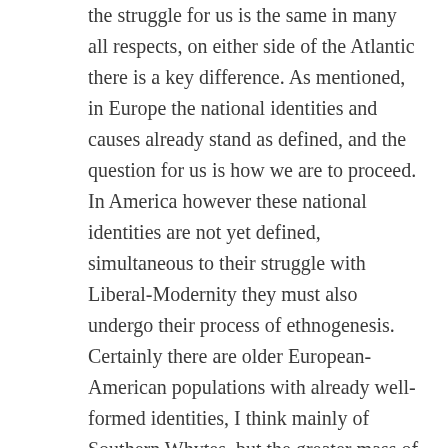the struggle for us is the same in many all respects, on either side of the Atlantic there is a key difference. As mentioned, in Europe the national identities and causes already stand as defined, and the question for us is how we are to proceed. In America however these national identities are not yet defined, simultaneous to their struggle with Liberal-Modernity they must also undergo their process of ethnogenesis. Certainly there are older European-American populations with already well-formed identities, I think mainly of Southern Whytes, but the greater mass of them, who are descended from recent Ellis Island immigrants, have yet to choose the cause and identity for the communities.
Their ethnogenesis is as such at an embryonic stage, yet they are in great peril. It is to be a process of